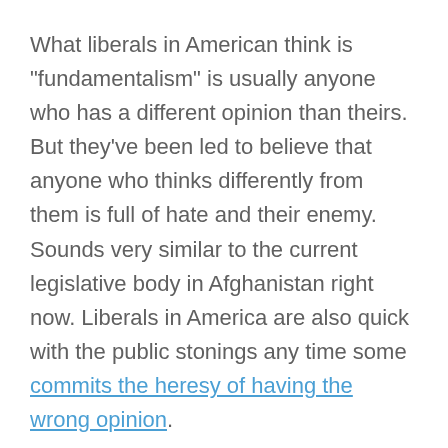What liberals in American think is "fundamentalism" is usually anyone who has a different opinion than theirs. But they've been led to believe that anyone who thinks differently from them is full of hate and their enemy. Sounds very similar to the current legislative body in Afghanistan right now. Liberals in America are also quick with the public stonings any time some commits the heresy of having the wrong opinion.
I could point all of these things out. But Lunchbox says he won't be debating the topic. Instead, using the logic used in this video, let me just say that both Joe Biden and the Taliban love ice cream. That